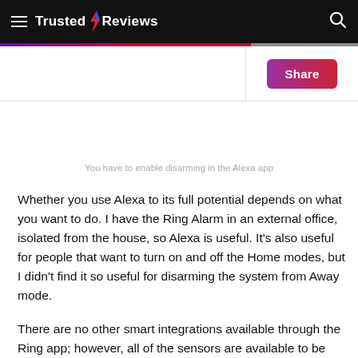Trusted Reviews
You have to enable disarming in the Alexa app
Whether you use Alexa to its full potential depends on what you want to do. I have the Ring Alarm in an external office, isolated from the house, so Alexa is useful. It's also useful for people that want to turn on and off the Home modes, but I didn't find it so useful for disarming the system from Away mode.
There are no other smart integrations available through the Ring app; however, all of the sensors are available to be